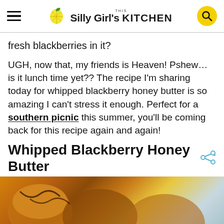This Silly Girl's Kitchen
fresh blackberries in it?
UGH, now that, my friends is Heaven! Pshew… is it lunch time yet?? The recipe I'm sharing today for whipped blackberry honey butter is so amazing I can't stress it enough. Perfect for a southern picnic this summer, you'll be coming back for this recipe again and again!
Whipped Blackberry Honey Butter
[Figure (photo): Close-up photo of muffins or baked goods at the bottom of the page]